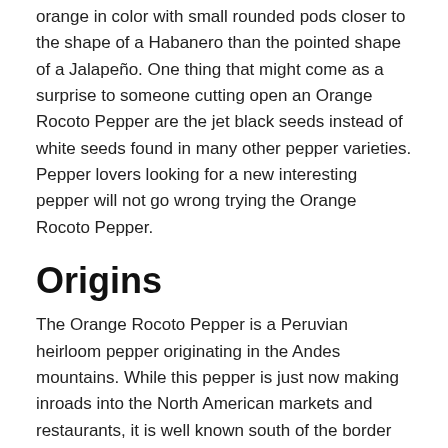orange in color with small rounded pods closer to the shape of a Habanero than the pointed shape of a Jalapeño. One thing that might come as a surprise to someone cutting open an Orange Rocoto Pepper are the jet black seeds instead of white seeds found in many other pepper varieties. Pepper lovers looking for a new interesting pepper will not go wrong trying the Orange Rocoto Pepper.
Origins
The Orange Rocoto Pepper is a Peruvian heirloom pepper originating in the Andes mountains. While this pepper is just now making inroads into the North American markets and restaurants, it is well known south of the border and is a favorite pepper in Latin American dishes.
Taste and Smell
The taste of the Orange Rocoto Pepper is sweet when compared to many peppers, making it an excellent choice for sweet pepper salsas such as mango salsa. The smell of the